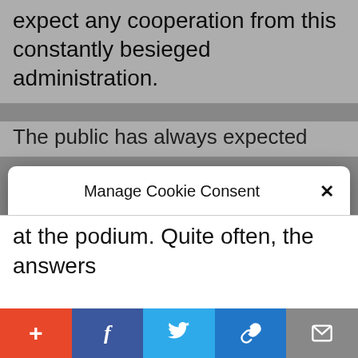expect any cooperation from this constantly besieged administration.
The public has always expected
Manage Cookie Consent
To provide the best experiences, we use technologies like cookies to store and/or access device information. Consenting to these technologies will allow us to process data such as website statistics. Not consenting or withdrawing consent, may adversely affect certain features and functions.
Accept
Cookie Policy  Privacy Policy
at the podium. Quite often, the answers
Share bar: + f Twitter Link Mail